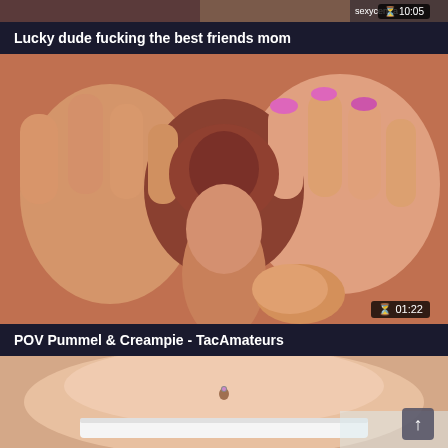[Figure (screenshot): Top strip showing partial video thumbnail with duration 10:05 and sexycent.a watermark]
Lucky dude fucking the best friends mom
[Figure (screenshot): Video thumbnail showing explicit sexual content, duration 01:22]
POV Pummel & Creampie - TacAmateurs
[Figure (screenshot): Partial video thumbnail showing torso with navel piercing]